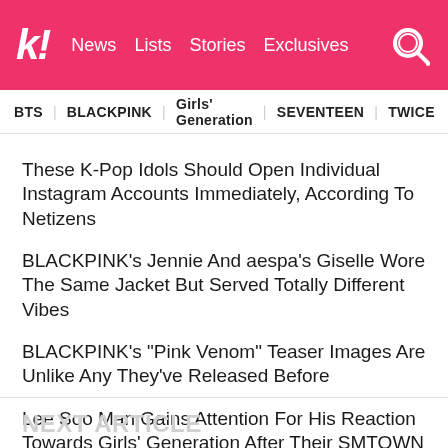k! News Lists Stories Exclusives
BTS   BLACKPINK   Girls' Generation   SEVENTEEN   TWICE
These K-Pop Idols Should Open Individual Instagram Accounts Immediately, According To Netizens
BLACKPINK's Jennie And aespa's Giselle Wore The Same Jacket But Served Totally Different Vibes
BLACKPINK's "Pink Venom" Teaser Images Are Unlike Any They've Released Before
Lee Soo Man Gains Attention For His Reaction Towards Girls' Generation After Their SMTOWN LIVE 2022 Performance
NCT's Chenle Shuts Down Accusations Of Lip-Syncing In The Classiest Way
NEXT ARTICLE